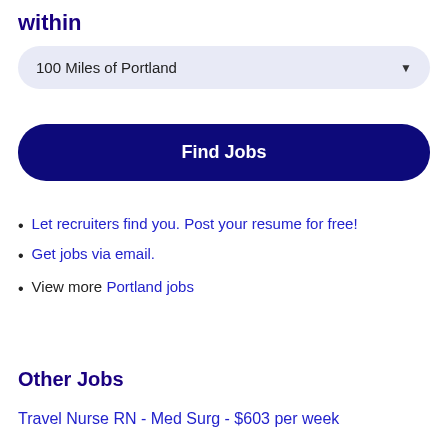within
100 Miles of Portland
Find Jobs
Let recruiters find you. Post your resume for free!
Get jobs via email.
View more Portland jobs
Other Jobs
Travel Nurse RN - Med Surg - $603 per week